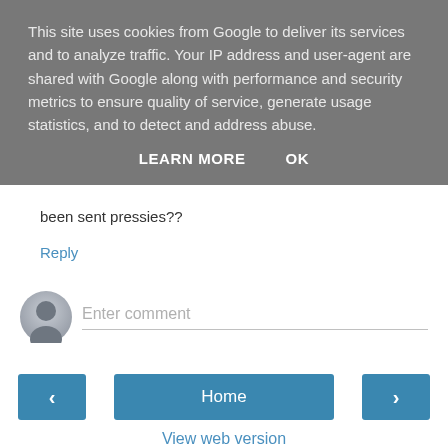This site uses cookies from Google to deliver its services and to analyze traffic. Your IP address and user-agent are shared with Google along with performance and security metrics to ensure quality of service, generate usage statistics, and to detect and address abuse.
LEARN MORE    OK
been sent pressies??
Reply
Enter comment
Home
View web version
Powered by Blogger.